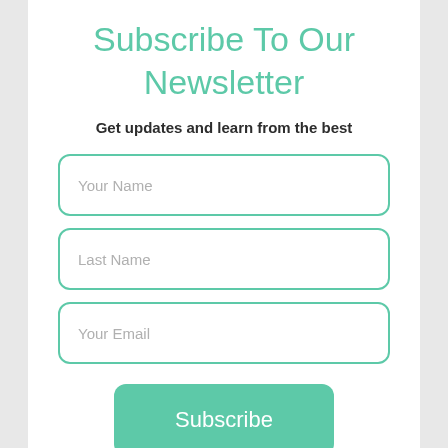Subscribe To Our Newsletter
Get updates and learn from the best
[Figure (screenshot): Newsletter subscription form with fields: Your Name, Last Name, Your Email, and a Subscribe button]
Subscribe